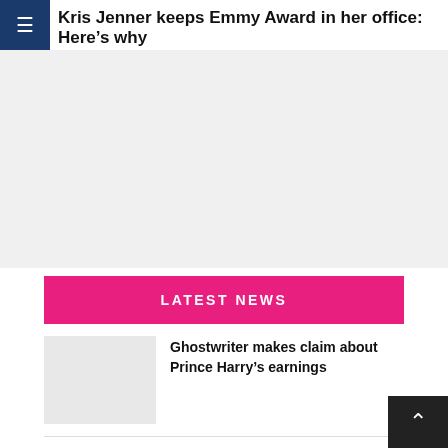Kris Jenner keeps Emmy Award in her office: Here’s why
[Figure (other): Advertisement / empty gray area]
LATEST NEWS
Ghostwriter makes claim about Prince Harry’s earnings
Nicole Shanahan is yet to respond to the alleged affair with Elon Musk
Can Anemia Make It Harder For You To Breathe?